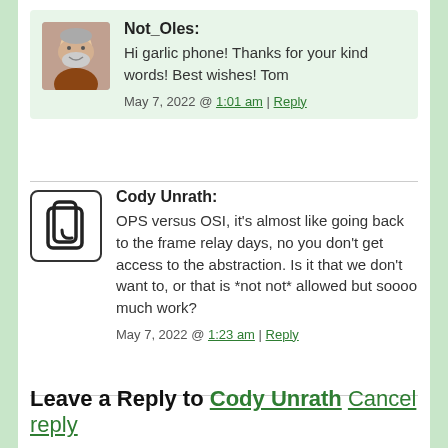Not_Oles: Hi garlic phone! Thanks for your kind words! Best wishes! Tom
May 7, 2022 @ 1:01 am | Reply
Cody Unrath: OPS versus OSI, it’s almost like going back to the frame relay days, no you don’t get access to the abstraction. Is it that we don’t want to, or that is *not not* allowed but soooo much work?
May 7, 2022 @ 1:23 am | Reply
Leave a Reply to Cody Unrath Cancel reply